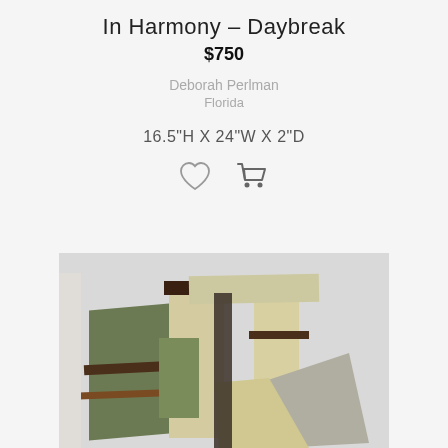In Harmony – Daybreak
$750
Deborah Perlman
Florida
16.5"H X 24"W X 2"D
[Figure (photo): Artwork photograph showing an abstract sculptural wall piece composed of overlapping rectangular panels in olive green, cream/beige, dark brown/walnut, and gray tones arranged in a geometric, architectural composition.]